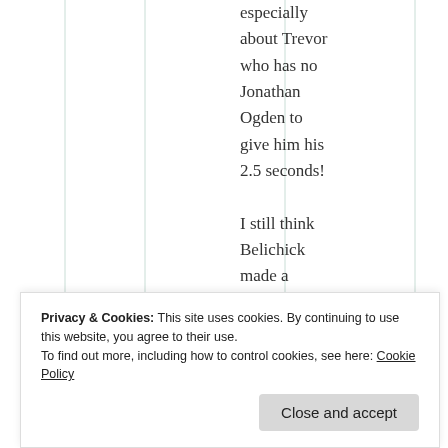especially about Trevor who has no Jonathan Ogden to give him his 2.5 seconds!

I still think Belichick made a
Privacy & Cookies: This site uses cookies. By continuing to use this website, you agree to their use.
To find out more, including how to control cookies, see here: Cookie Policy
Close and accept
he should